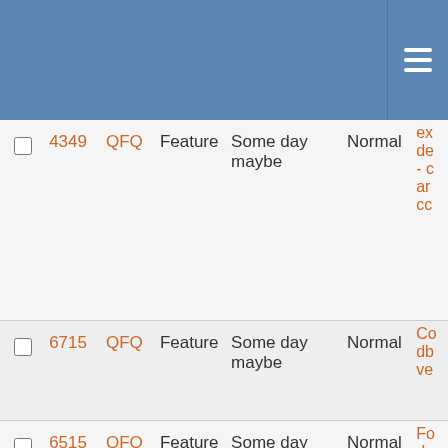|  | ID | Project | Type | Milestone | Priority | Description |
| --- | --- | --- | --- | --- | --- | --- |
| ☐ | 4349 | QFQ | Feature | Some day maybe | Normal | ex de - c ar cc |
| ☐ | 6715 | QFQ | Feature | Some day maybe | Normal | Co db ve |
| ☐ | 6515 | QFQ | Feature | Some day maybe | Normal | Fo dy ei |
| ☐ | 6299 | QFQ | Feature | Some day maybe | Normal | At lo in |
| ☐ | 6288 | QFQ | Feature | Some day maybe | Normal | Be En ei in ka |
| ☐ | 6083 | QFQ | Feature | Some day maybe | Normal | Dy Va So |